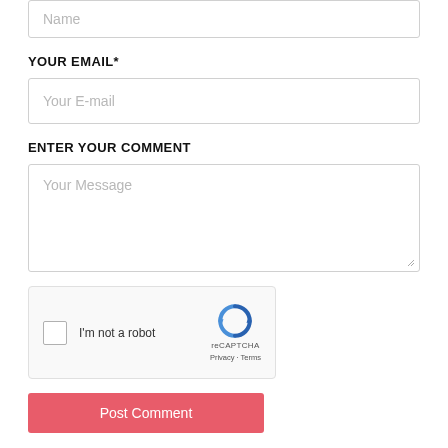Name
YOUR EMAIL*
Your E-mail
ENTER YOUR COMMENT
Your Message
[Figure (other): reCAPTCHA widget with checkbox labeled I'm not a robot, reCAPTCHA logo, Privacy and Terms links]
Post Comment